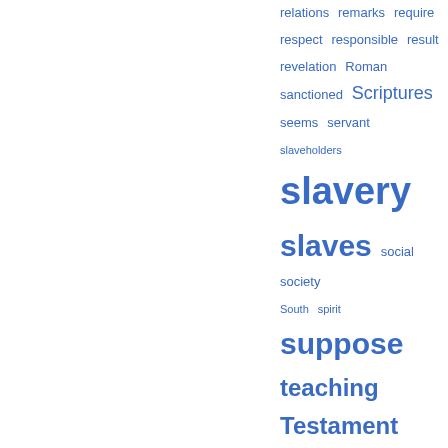[Figure (other): Word cloud with terms related to slavery in blue, varying font sizes indicating frequency: relations, remarks, require, respect, responsible, result, revelation, Roman, sanctioned, Scriptures, seems, servant, slaveholders, slavery (largest), slaves (large), social, society, South, spirit, suppose (large), teaching, Testament (large), thing (large), tion, treated, true, truth (large), universal, unto, variance, violation, whole (large), wrong (large)]
Populära avsnitt
Sida 79 - Servants, obey in all things your masters